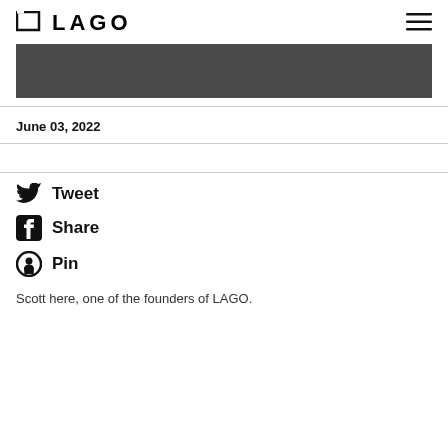LAGO
[Figure (other): Dark gray banner/header image area]
June 03, 2022
Tweet
Share
Pin
Scott here, one of the founders of LAGO.